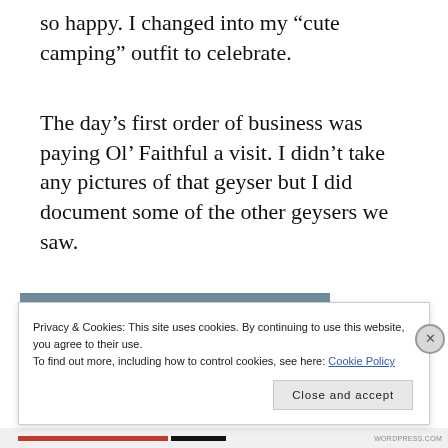so happy. I changed into my “cute camping” outfit to celebrate.
The day’s first order of business was paying Ol’ Faithful a visit. I didn’t take any pictures of that geyser but I did document some of the other geysers we saw.
[Figure (photo): Outdoor landscape photo showing a geyser or hot spring area with steam and water, natural scenery.]
Privacy & Cookies: This site uses cookies. By continuing to use this website, you agree to their use.
To find out more, including how to control cookies, see here: Cookie Policy
Close and accept